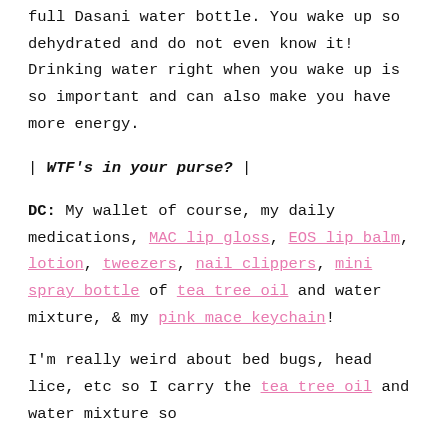full Dasani water bottle. You wake up so dehydrated and do not even know it! Drinking water right when you wake up is so important and can also make you have more energy.
| WTF's in your purse? |
DC: My wallet of course, my daily medications, MAC lip gloss, EOS lip balm, lotion, tweezers, nail clippers, mini spray bottle of tea tree oil and water mixture, & my pink mace keychain!
I'm really weird about bed bugs, head lice, etc so I carry the tea tree oil and water mixture so